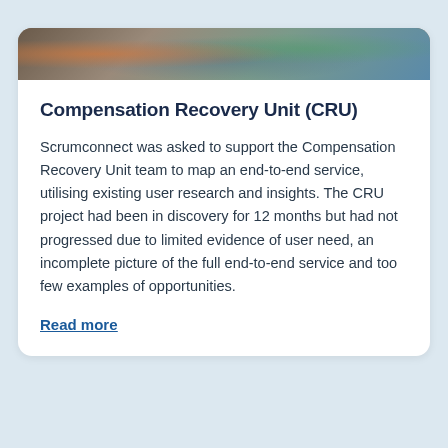[Figure (photo): Photo strip showing people working at a table in an office/workshop setting]
Compensation Recovery Unit (CRU)
Scrumconnect was asked to support the Compensation Recovery Unit team to map an end-to-end service, utilising existing user research and insights. The CRU project had been in discovery for 12 months but had not progressed due to limited evidence of user need, an incomplete picture of the full end-to-end service and too few examples of opportunities.
Read more